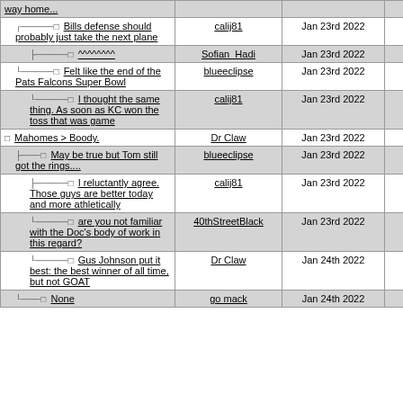| Topic | Author | Date | ID |
| --- | --- | --- | --- |
| way home... |  |  |  |
| Bills defense should probably just take the next plane | calij81 | Jan 23rd 2022 | 219 |
| ^^^^^^^^ | Sofian_Hadi | Jan 23rd 2022 | 222 |
| Felt like the end of the Pats Falcons Super Bowl | blueeclipse | Jan 23rd 2022 | 223 |
| I thought the same thing. As soon as KC won the toss that was game | calij81 | Jan 23rd 2022 | 226 |
| Mahomes > Boody. | Dr Claw | Jan 23rd 2022 | 218 |
| May be true but Tom still got the rings.... | blueeclipse | Jan 23rd 2022 | 220 |
| I reluctantly agree. Those guys are better today and more athletically | calij81 | Jan 23rd 2022 | 225 |
| are you not familiar with the Doc's body of work in this regard? | 40thStreetBlack | Jan 23rd 2022 | 229 |
| Gus Johnson put it best: the best winner of all time, but not GOAT | Dr Claw | Jan 24th 2022 | 244 |
| None | go mack | Jan 24th 2022 | 248 |